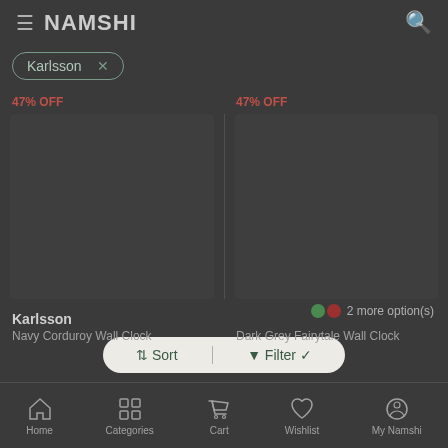NAMSHI
Karlsson ×
47% OFF
47% OFF
[Figure (screenshot): Two dark product image placeholders for Karlsson wall clocks]
2 more option(s)
Sort   Filter ✓
Karlsson
Navy Corduroy Wall Clock
Dark Grey Fairytale Wall Clock
Home   Categories   Cart   Wishlist   My Namshi